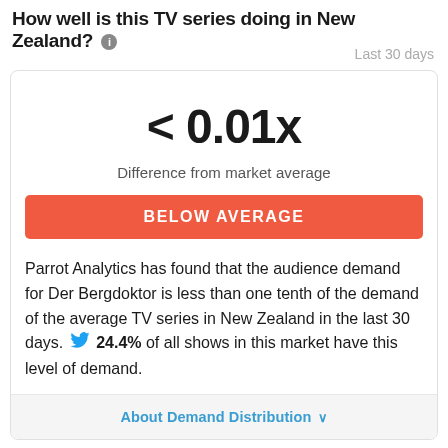How well is this TV series doing in New Zealand?
Last 30 days
< 0.01x
Difference from market average
BELOW AVERAGE
Parrot Analytics has found that the audience demand for Der Bergdoktor is less than one tenth of the demand of the average TV series in New Zealand in the last 30 days. 24.4% of all shows in this market have this level of demand.
About Demand Distribution